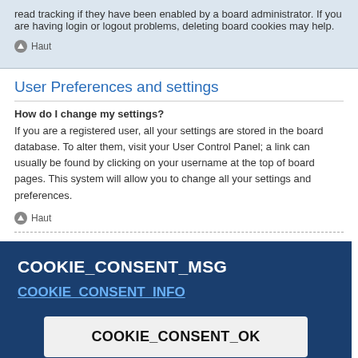read tracking if they have been enabled by a board administrator. If you are having login or logout problems, deleting board cookies may help.
Haut
User Preferences and settings
How do I change my settings?
If you are a registered user, all your settings are stored in the board database. To alter them, visit your User Control Panel; a link can usually be found by clicking on your username at the top of board pages. This system will allow you to change all your settings and preferences.
Haut
How do I prevent my username appearing in the online user listings?
COOKIE_CONSENT_MSG
COOKIE_CONSENT_INFO
COOKIE_CONSENT_OK
ne you are in. If this is the case, visit your User Control Panel and change your timezone to match your particular area, e.g. London, Paris, New York, Sydney, etc. Please